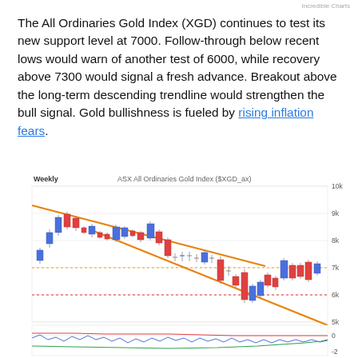Incredible Charts
The All Ordinaries Gold Index (XGD) continues to test its new support level at 7000. Follow-through below recent lows would warn of another test of 6000, while recovery above 7300 would signal a fresh advance. Breakout above the long-term descending trendline would strengthen the bull signal. Gold bullishness is fueled by rising inflation fears.
[Figure (continuous-plot): Weekly candlestick chart of ASX All Ordinaries Gold Index ($XGD_ax) showing descending trendline channel in orange, dotted horizontal support lines at 7000 (orange) and 6000 (red), with a lower panel showing oscillator lines (red, blue, green). Price action shows downtrend from ~9500 to ~7000 range.]